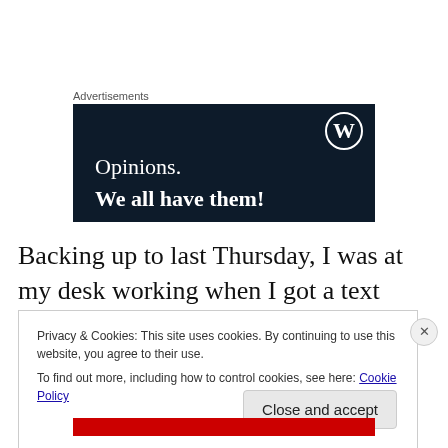Advertisements
[Figure (illustration): WordPress advertisement banner with dark navy background, WordPress logo (W in circle) top right, text 'Opinions.' and 'We all have them!' in white serif font]
Backing up to last Thursday, I was at my desk working when I got a text message and when my phone lit up, I
Privacy & Cookies: This site uses cookies. By continuing to use this website, you agree to their use.
To find out more, including how to control cookies, see here: Cookie Policy
Close and accept